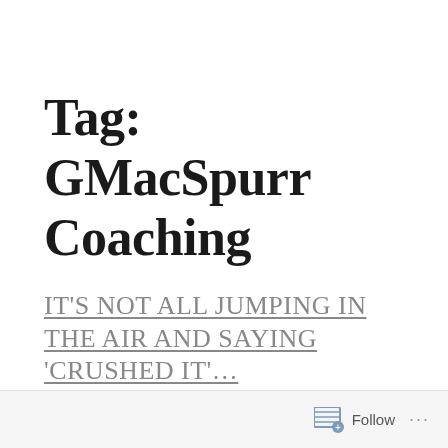Tag: GMacSpurr Coaching
IT'S NOT ALL JUMPING IN THE AIR AND SAYING 'CRUSHED IT'…
Follow …